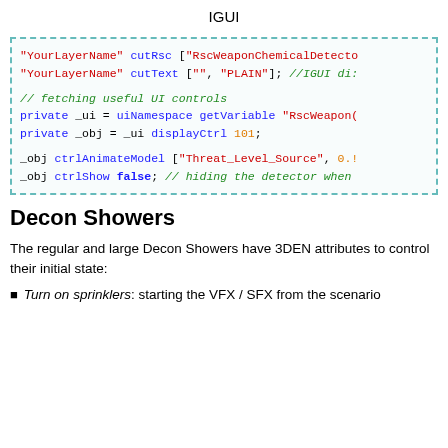IGUI
[Figure (screenshot): Code block with dashed teal border showing SQF/script code with syntax highlighting: red for string literals, blue for keywords, green for comments, orange for numbers. Lines include: "YourLayerName" cutRsc ["RscWeaponChemicalDetecto, "YourLayerName" cutText ["", "PLAIN"]; //IGUI di:, // fetching useful UI controls, private _ui = uiNamespace getVariable "RscWeapon(, private _obj = _ui displayCtrl 101;, _obj ctrlAnimateModel ["Threat_Level_Source", 0.!, _obj ctrlShow false; // hiding the detector when]
Decon Showers
The regular and large Decon Showers have 3DEN attributes to control their initial state:
Turn on sprinklers: starting the VFX / SFX from the scenario